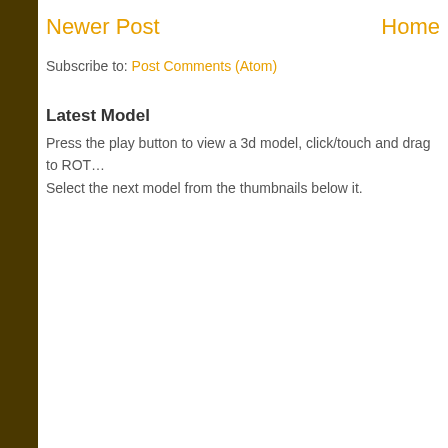Newer Post    Home
Subscribe to: Post Comments (Atom)
Latest Model
Press the play button to view a 3d model, click/touch and drag to ROT... Select the next model from the thumbnails below it.